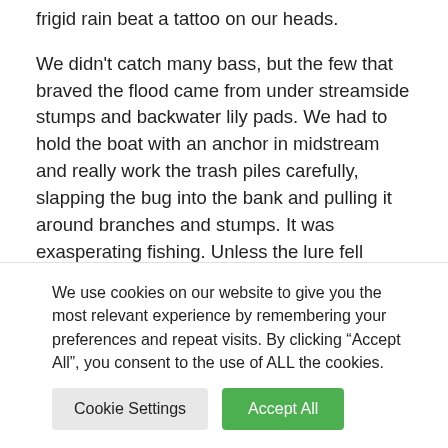frigid rain beat a tattoo on our heads.
We didn't catch many bass, but the few that braved the flood came from under streamside stumps and backwater lily pads. We had to hold the boat with an anchor in midstream and really work the trash piles carefully, slapping the bug into the bank and pulling it around branches and stumps. It was exasperating fishing. Unless the lure fell within an inch of the shoreline, there was no hope of getting a strike. And
We use cookies on our website to give you the most relevant experience by remembering your preferences and repeat visits. By clicking “Accept All”, you consent to the use of ALL the cookies.
Cookie Settings | Accept All